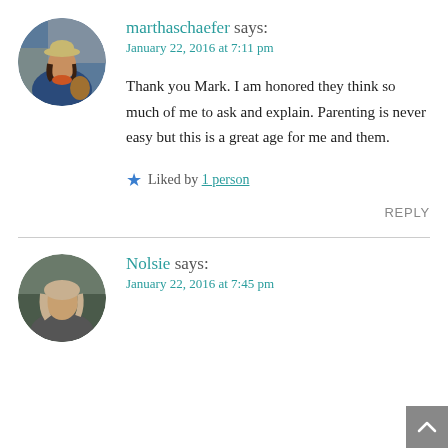[Figure (photo): Circular avatar photo of marthaschaefer, a woman wearing a hat outdoors]
marthaschaefer says:
January 22, 2016 at 7:11 pm
Thank you Mark. I am honored they think so much of me to ask and explain. Parenting is never easy but this is a great age for me and them.
★ Liked by 1 person
REPLY
[Figure (photo): Circular avatar photo of Nolsie, a person with light hair]
Nolsie says:
January 22, 2016 at 7:45 pm